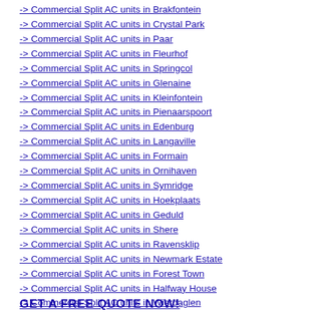-> Commercial Split AC units in Brakfontein
-> Commercial Split AC units in Crystal Park
-> Commercial Split AC units in Paar
-> Commercial Split AC units in Fleurhof
-> Commercial Split AC units in Springcol
-> Commercial Split AC units in Glenaine
-> Commercial Split AC units in Kleinfontein
-> Commercial Split AC units in Pienaarspoort
-> Commercial Split AC units in Edenburg
-> Commercial Split AC units in Langaville
-> Commercial Split AC units in Formain
-> Commercial Split AC units in Ornihaven
-> Commercial Split AC units in Symridge
-> Commercial Split AC units in Hoekplaats
-> Commercial Split AC units in Geduld
-> Commercial Split AC units in Shere
-> Commercial Split AC units in Ravensklip
-> Commercial Split AC units in Newmark Estate
-> Commercial Split AC units in Forest Town
-> Commercial Split AC units in Halfway House
-> Commercial Split AC units in Wierdaglen
-> Commercial Split AC units in Rynsoord
GET A FREE QUOTE NOW!